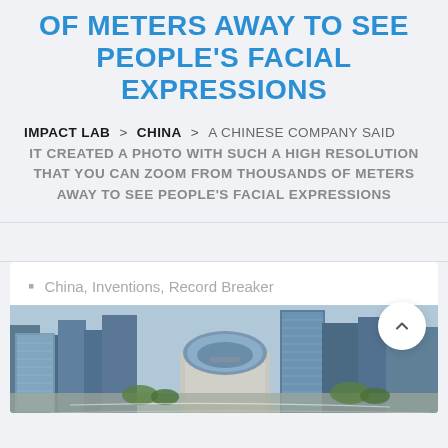OF METERS AWAY TO SEE PEOPLE'S FACIAL EXPRESSIONS
IMPACT LAB > CHINA > A CHINESE COMPANY SAID IT CREATED A PHOTO WITH SUCH A HIGH RESOLUTION THAT YOU CAN ZOOM FROM THOUSANDS OF METERS AWAY TO SEE PEOPLE'S FACIAL EXPRESSIONS
China, Inventions, Record Breaker
[Figure (photo): Aerial view of a dense city skyline with tall skyscrapers, a domed building visible in the center, highways and greenery below, photographed from above.]